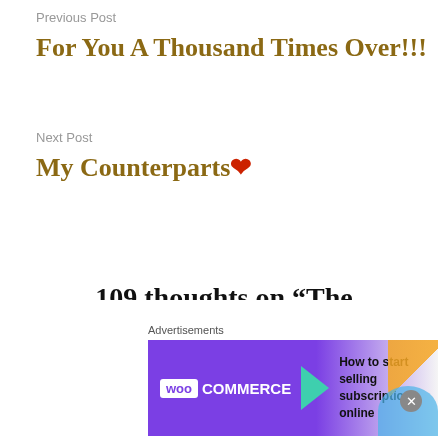Previous Post
For You A Thousand Times Over!!!
Next Post
My Counterparts❤
109 thoughts on “The Agonizing Happening”
Blessing Pius
[Figure (screenshot): WooCommerce advertisement banner: 'How to start selling subscriptions online']
Advertisements